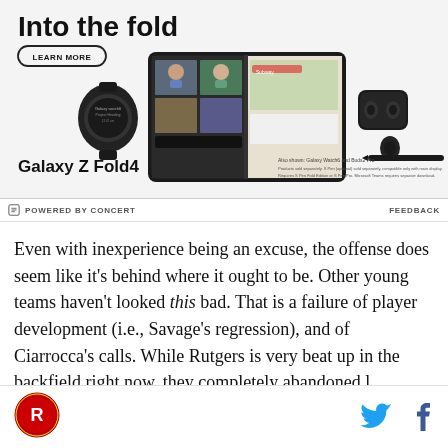[Figure (photo): Samsung Galaxy Z Fold4 advertisement banner with headline 'Into the fold', a LEARN MORE button, product images including a smartwatch, Galaxy Z Fold4 foldable phone showing a video call, and earbuds with stylus. Text: 'Galaxy Z Fold4', 'Also shown: Galaxy Watch6 and Buds2 Pro', fine print about products sold separately.]
POWERED BY CONCERT
FEEDBACK
Even with inexperience being an excuse, the offense does seem like it's behind where it ought to be. Other young teams haven't looked this bad. That is a failure of player development (i.e., Savage's regression), and of Ciarrocca's calls. While Rutgers is very beat up in the backfield right now, they completely abandoned l
[Figure (logo): Rutgers sports site logo - circular emblem with R]
[Figure (logo): Twitter bird icon in cyan blue]
[Figure (logo): Facebook f icon in dark blue]